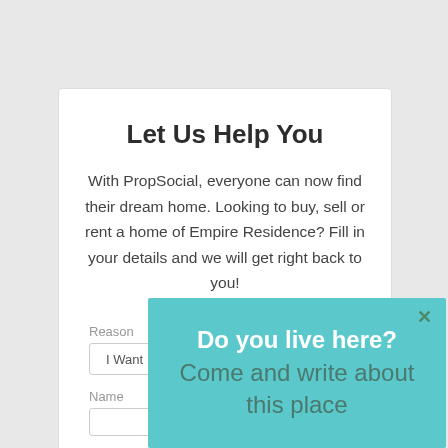Let Us Help You
With PropSocial, everyone can now find their dream home. Looking to buy, sell or rent a home of Empire Residence? Fill in your details and we will get right back to you!
Reason
I Want
Name
[Figure (screenshot): Popup overlay in teal/cyan color with close button (x) and text: 'Do you live here? Come and write about this place']